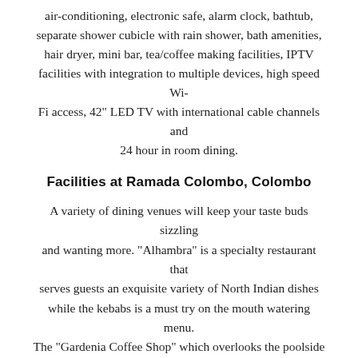air-conditioning, electronic safe, alarm clock, bathtub, separate shower cubicle with rain shower, bath amenities, hair dryer, mini bar, tea/coffee making facilities, IPTV facilities with integration to multiple devices, high speed Wi-Fi access, 42" LED TV with international cable channels and 24 hour in room dining.
Facilities at Ramada Colombo, Colombo
A variety of dining venues will keep your taste buds sizzling and wanting more. "Alhambra" is a specialty restaurant that serves guests an exquisite variety of North Indian dishes while the kebabs is a must try on the mouth watering menu. The "Gardenia Coffee Shop" which overlooks the poolside serves a rich array of global cuisine with both an a la carte and breakfast buffet menu. You can also enjoy some local Ceylon tea and some wine which has been handpicked from an extensive range. The "Oasis Lounge" is a wonderful venue